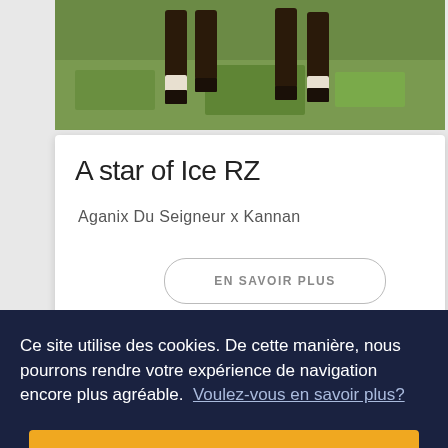[Figure (photo): Close-up photo of horse legs on grass, showing lower legs and hooves of a horse mid-stride on green grass]
A star of Ice RZ
Aganix Du Seigneur x Kannan
EN SAVOIR PLUS
Ce site utilise des cookies. De cette manière, nous pourrons rendre votre expérience de navigation encore plus agréable.  Voulez-vous en savoir plus?
Je comprends.